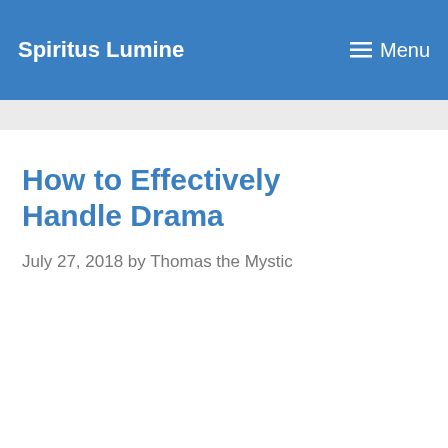Spiritus Lumine
How to Effectively Handle Drama
July 27, 2018 by Thomas the Mystic